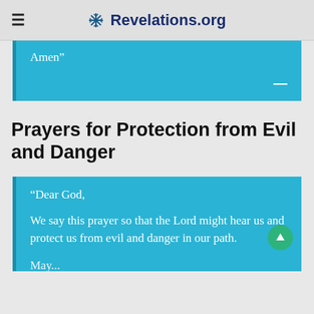Revelations.org
Amen”
Prayers for Protection from Evil and Danger
“Dear God,

We say this prayer so that the Lord might hear us and protect us from evil and danger in our path.

May...